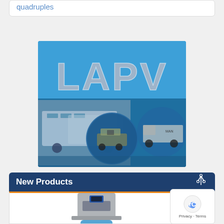quadruples
[Figure (illustration): LAPV magazine banner advertisement featuring large gray 'LAPV' text on a blue background with three circular/rectangular inset photos showing public transport buses, a street sweeper vehicle, and a truck/lorry.]
New Products
[Figure (photo): Partial image of a product (appears to be a concrete or metal bollard/post with a mounted device), shown at the bottom of the page inside the New Products section.]